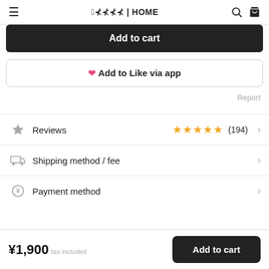≡  ｜HOME  🔍  🛒
Add to cart
♥ Add to Like via app
Report
Reviews  ★★★★★ (194)
Shipping method / fee
Payment method
¥1,900  tax included  Add to cart